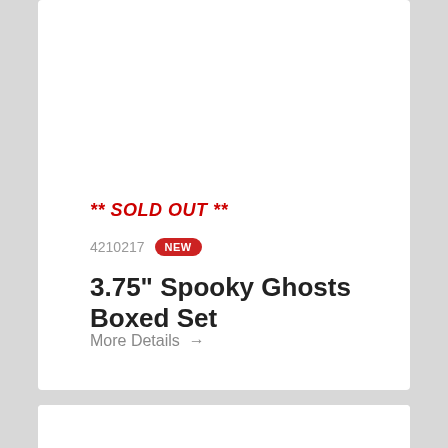** SOLD OUT **
4210217 NEW
3.75" Spooky Ghosts Boxed Set
More Details →
[Figure (photo): Partial view of a black shiny object, likely a product photo, cropped at bottom of page]